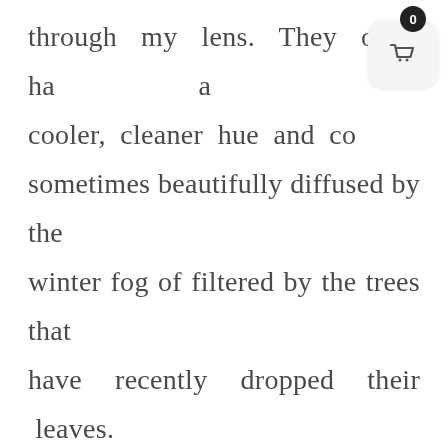through my lens. They often have a cooler, cleaner hue and come sometimes beautifully diffused by the winter fog of filtered by the trees that have recently dropped their leaves. And the blue hours are spectacular as well, leaving your images with gorgeous depth and emotion. And the best part? You don't need to keep the kids up past their bedtime to capture a winter sunset! Take advantage of
[Figure (other): Shopping cart widget overlay showing a badge with '0' count and a rounded square icon with a basket/cart symbol]